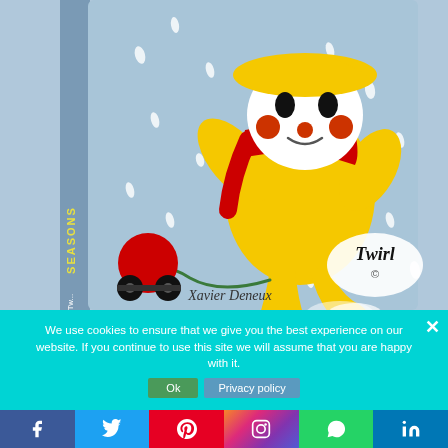[Figure (illustration): A children's board book cover showing a cartoon character wearing a yellow raincoat and hat, red scarf, walking in the rain. A small red toy on wheels is attached by a string. The book is titled 'Seasons' by Xavier Deneux, published by Twirl.]
We use cookies to ensure that we give you the best experience on our website. If you continue to use this site we will assume that you are happy with it.
Ok   Privacy policy